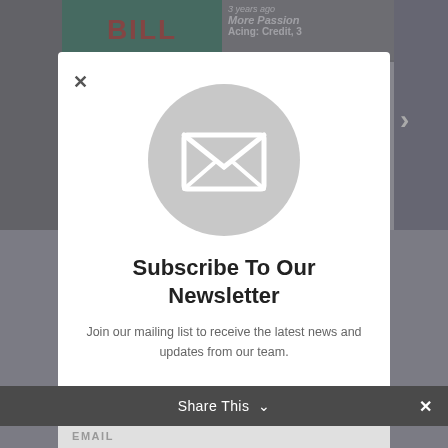[Figure (screenshot): Newsletter subscription modal popup overlay on a website. A white modal card contains a grey circle with an envelope/mail icon. Below the icon are bold text heading 'Subscribe To Our Newsletter' and body text 'Join our mailing list to receive the latest news and updates from our team.' A close (X) button appears top-left. A purple bar appears at the bottom of the modal. A dark 'Share This' bar with a chevron icon and close X is at the bottom of the screen. An email input field is partially visible.]